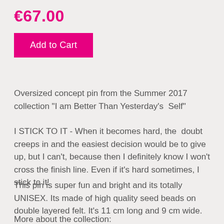€67.00
Add to Cart
Oversized concept pin from the Summer 2017 collection "I am Better Than Yesterday's  Self"
I STICK TO IT - When it becomes hard, the  doubt creeps in and the easiest decision would be to give up, but I can't, because then I definitely know I won't cross the finish line. Even if it's hard sometimes, I stick to it!
This pin is super fun and bright and its totally UNISEX. Its made of high quality seed beads on double layered felt. It's 11 cm long and 9 cm wide.
More about the collection: